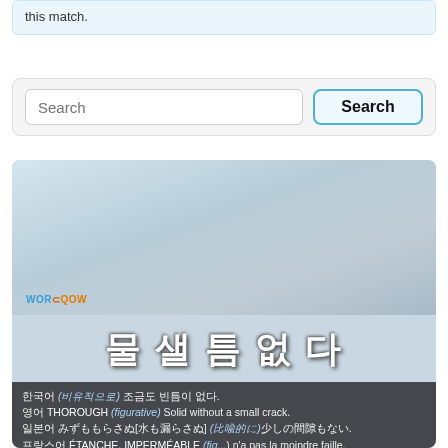this match.
[Figure (screenshot): Search bar with text input field labeled 'Search' and a bold 'Search' button with teal border]
[Figure (illustration): Word lookup card for Korean word '물샐틈없다' showing translations. Background is a misty grey-blue sky. Logo 'WORDQOW' appears bottom-left. Large Korean characters in white bold text with shadow. Dark translucent bar below with multilingual definitions: Korean (비유적으로) 조금도 빈틈이 없다, English THOROUGH (figurative) Solid without a small crack, Japanese みずももらさぬ[水も漏らさぬ](比喩的に)少しの間隙もない, French ÉTANCHE, IMPERMÉABLE (fig...) n'a pas la moindre faille, Spanish DE ESTRICTA VIGILANCIA, SIN PUEDA PASAR SIQUIERA UNA HORMIGA]